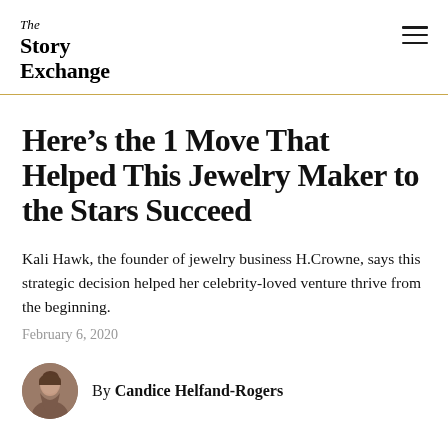The Story Exchange
Here’s the 1 Move That Helped This Jewelry Maker to the Stars Succeed
Kali Hawk, the founder of jewelry business H.Crowne, says this strategic decision helped her celebrity-loved venture thrive from the beginning.
February 6, 2020
By Candice Helfand-Rogers